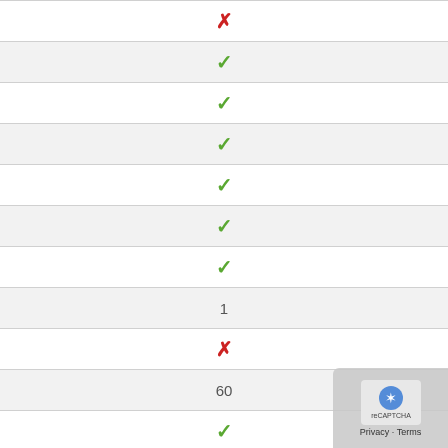| ✗ |
| ✓ |
| ✓ |
| ✓ |
| ✓ |
| ✓ |
| ✓ |
| 1 |
| ✗ |
| 60 |
| ✓ |
| ✓ |